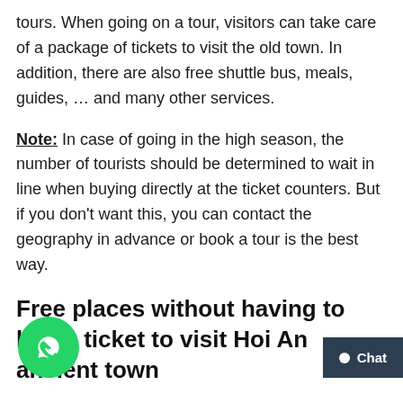tours. When going on a tour, visitors can take care of a package of tickets to visit the old town. In addition, there are also free shuttle bus, meals, guides, … and many other services.
Note: In case of going in the high season, the number of tourists should be determined to wait in line when buying directly at the ticket counters. But if you don't want this, you can contact the geography in advance or book a tour is the best way.
Free places without having to buy a ticket to visit Hoi An ancient town
If the problem of ticket prices to visit Hoi An makes wonder because conditions do not allow, then rest assured and explore this land. Because besid…